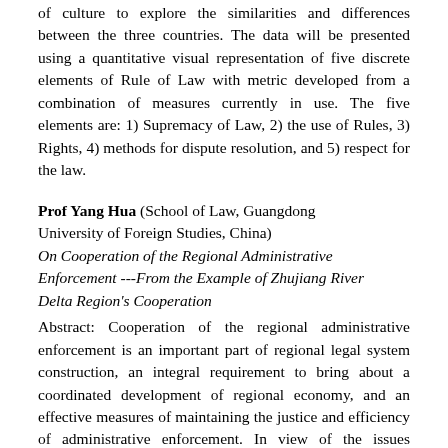of culture to explore the similarities and differences between the three countries. The data will be presented using a quantitative visual representation of five discrete elements of Rule of Law with metric developed from a combination of measures currently in use. The five elements are: 1) Supremacy of Law, 2) the use of Rules, 3) Rights, 4) methods for dispute resolution, and 5) respect for the law.
Prof Yang Hua (School of Law, Guangdong University of Foreign Studies, China) On Cooperation of the Regional Administrative Enforcement ---From the Example of Zhujiang River Delta Region's Cooperation
Abstract: Cooperation of the regional administrative enforcement is an important part of regional legal system construction, an integral requirement to bring about a coordinated development of regional economy, and an effective measures of maintaining the justice and efficiency of administrative enforcement. In view of the issues existing in the cooperation of the regional law enforcement, we ought